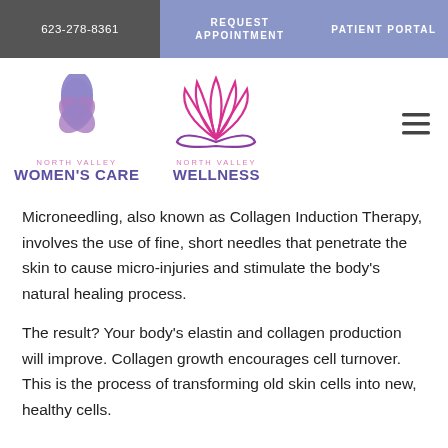623-278-8361 | REQUEST APPOINTMENT | PATIENT PORTAL
[Figure (logo): North Valley Women's Care logo — pink floral with blue center and text]
[Figure (logo): North Valley Wellness logo — pink/purple lotus flower with text]
Microneedling, also known as Collagen Induction Therapy, involves the use of fine, short needles that penetrate the skin to cause micro-injuries and stimulate the body's natural healing process.
The result? Your body's elastin and collagen production will improve. Collagen growth encourages cell turnover. This is the process of transforming old skin cells into new, healthy cells.